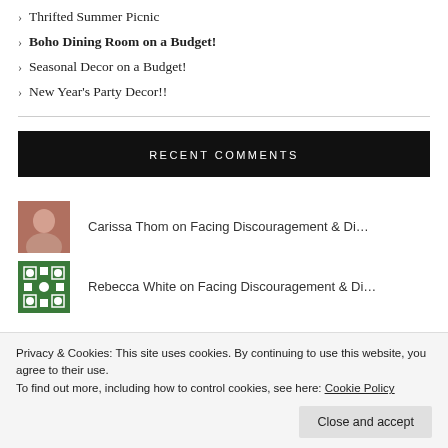Thrifted Summer Picnic
Boho Dining Room on a Budget!
Seasonal Decor on a Budget!
New Year's Party Decor!!
RECENT COMMENTS
Carissa Thom on Facing Discouragement & Di…
Rebecca White on Facing Discouragement & Di…
Privacy & Cookies: This site uses cookies. By continuing to use this website, you agree to their use. To find out more, including how to control cookies, see here: Cookie Policy
Close and accept